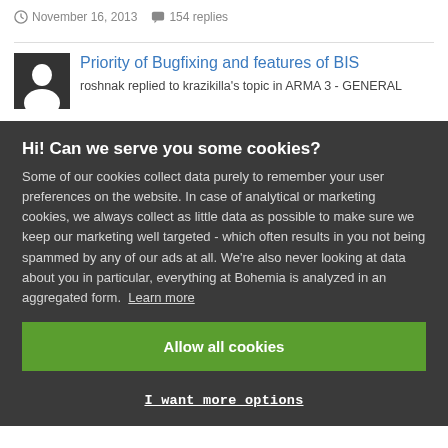November 16, 2013  154 replies
Priority of Bugfixing and features of BIS
roshnak replied to krazikilla's topic in ARMA 3 - GENERAL
Hi! Can we serve you some cookies?
Some of our cookies collect data purely to remember your user preferences on the website. In case of analytical or marketing cookies, we always collect as little data as possible to make sure we keep our marketing well targeted - which often results in you not being spammed by any of our ads at all. We're also never looking at data about you in particular, everything at Bohemia is analyzed in an aggregated form. Learn more
Allow all cookies
I want more options